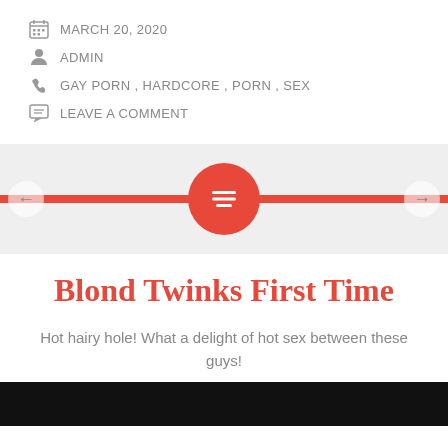MARCH 20, 2020
ADMIN
GAY PORN , HARDCORE , PORN , SEX
LEAVE A COMMENT
[Figure (other): Slider/carousel UI element with red bar and circle icon, left and right navigation arrows]
Blond Twinks First Time
Hot hairy hole! What a delight of hot sex between these guys!
[Figure (photo): Black image placeholder at bottom of page]